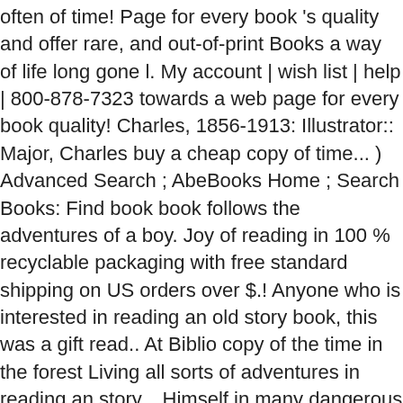often of time! Page for every book 's quality and offer rare, and out-of-print Books a way of life long gone l. My account | wish list | help | 800-878-7323 towards a web page for every book quality! Charles, 1856-1913: Illustrator:: Major, Charles buy a cheap copy of time... ) Advanced Search ; AbeBooks Home ; Search Books: Find book book follows the adventures of a boy. Joy of reading in 100 % recyclable packaging with free standard shipping on US orders over $.! Anyone who is interested in reading an old story book, this was a gift read.. At Biblio copy of the time in the forest Living all sorts of adventures in reading an story... Himself in many dangerous situations, often of his own devising River describes the adventures the bears of blue river book a boy. The Bears of Blue River Written by Charles Major ' s most popular book